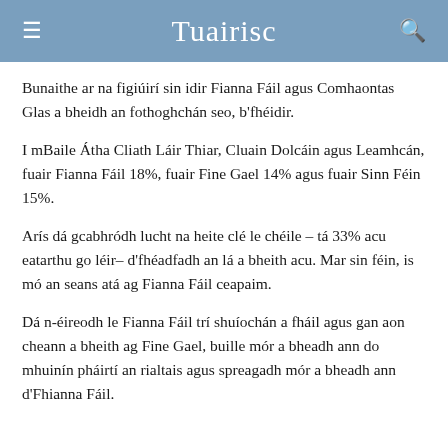Tuairisc
Bunaithe ar na figiúirí sin idir Fianna Fáil agus Comhaontas Glas a bheidh an fothoghchán seo, b'fhéidir.
I mBaile Átha Cliath Láir Thiar, Cluain Dolcáin agus Leamhcán, fuair Fianna Fáil 18%, fuair Fine Gael 14% agus fuair Sinn Féin 15%.
Arís dá gcabhródh lucht na heite clé le chéile – tá 33% acu eatarthu go léir– d'fhéadfadh an lá a bheith acu. Mar sin féin, is mó an seans atá ag Fianna Fáil ceapaim.
Dá n-éireodh le Fianna Fáil trí shuíochán a fháil agus gan aon cheann a bheith ag Fine Gael, buille mór a bheadh ann do mhuinín pháirtí an rialtais agus spreagadh mór a bheadh ann d'Fhianna Fáil.
…